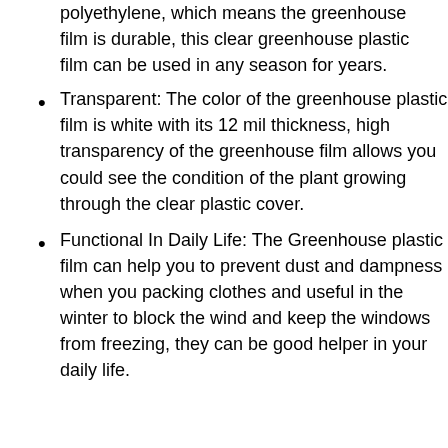polyethylene, which means the greenhouse film is durable, this clear greenhouse plastic film can be used in any season for years.
Transparent: The color of the greenhouse plastic film is white with its 12 mil thickness, high transparency of the greenhouse film allows you could see the condition of the plant growing through the clear plastic cover.
Functional In Daily Life: The Greenhouse plastic film can help you to prevent dust and dampness when you packing clothes and useful in the winter to block the wind and keep the windows from freezing, they can be good helper in your daily life.